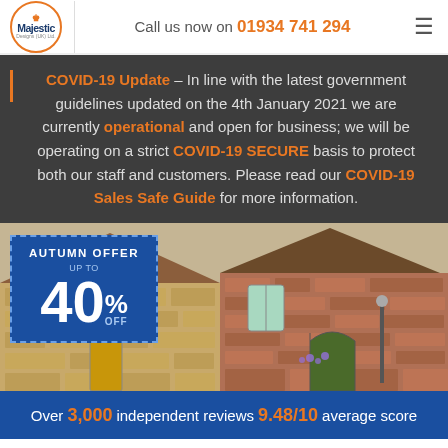Majestic Designs (UK) Ltd. — Call us now on 01934 741 294
COVID-19 Update – In line with the latest government guidelines updated on the 4th January 2021 we are currently operational and open for business; we will be operating on a strict COVID-19 SECURE basis to protect both our staff and customers. Please read our COVID-19 Sales Safe Guide for more information.
[Figure (photo): Houses with stone and brick facades, with an autumn offer badge showing up to 40% off]
Over 3,000 independent reviews 9.48/10 average score